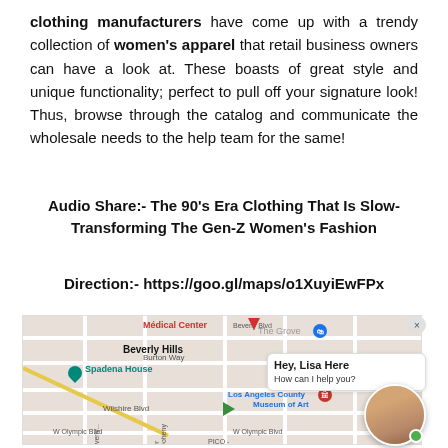clothing manufacturers have come up with a trendy collection of women's apparel that retail business owners can have a look at. These boasts of great style and unique functionality; perfect to pull off your signature look! Thus, browse through the catalog and communicate the wholesale needs to the help team for the same!
Audio Share:- The 90's Era Clothing That Is Slow-Transforming The Gen-Z Women's Fashion
Direction:- https://goo.gl/maps/o1XuyiEwFPx
[Figure (map): Google Maps view of Beverly Hills area showing Medical Center, Spadena House, Los Angeles County Museum of Art, Beverly Blvd, Wilshire Blvd, Burton Way, W Olympic Blvd, S Doheny Dr, and PICO area.]